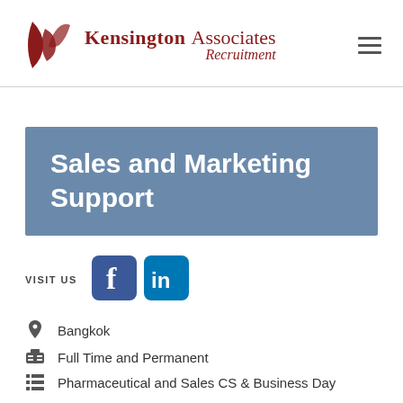[Figure (logo): Kensington Associates Recruitment logo with dark red 'K' symbol and company name]
Sales and Marketing Support
VISIT US
[Figure (logo): Facebook icon (blue square with white f)]
[Figure (logo): LinkedIn icon (blue square with white in)]
Bangkok
Full Time and Permanent
Pharmaceutical and Sales CS & Business Day